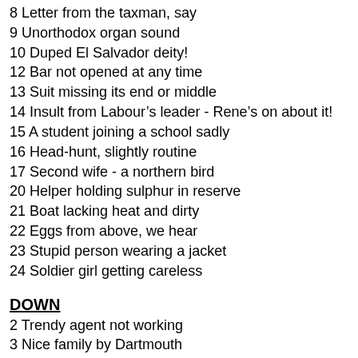8 Letter from the taxman, say
9 Unorthodox organ sound
10 Duped El Salvador deity!
12 Bar not opened at any time
13 Suit missing its end or middle
14 Insult from Labour's leader - Rene's on about it!
15 A student joining a school sadly
16 Head-hunt, slightly routine
17 Second wife - a northern bird
20 Helper holding sulphur in reserve
21 Boat lacking heat and dirty
22 Eggs from above, we hear
23 Stupid person wearing a jacket
24 Soldier girl getting careless
DOWN
2 Trendy agent not working
3 Nice family by Dartmouth
4 Rum poets read in despair
5 Future monarch, perhaps
6 Hurt beginner in great pain
7 Game or drunken come-ons